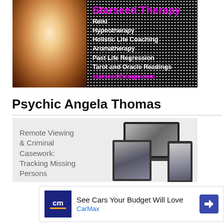[Figure (infographic): Starseed Therapy advertisement banner featuring a smiling blonde woman on the left and black starry background on the right with magenta title text and white service listings: Reiki, Hypnotherapy, Holistic Life Coaching, Aromatherapy, Past Life Regression, Tarot and Oracle Readings, starseedtherapy.com]
Psychic Angela Thomas
[Figure (infographic): Course advertisement for Remote Viewing & Criminal Casework: Tracking Missing Persons, showing text on grey background with device mockups (laptop, tablet, phone) displaying imagery of a person in a forest/nature scene]
[Figure (infographic): CarMax advertisement: CM logo in navy square, text 'See Cars Your Budget Will Love' with 'CarMax' in blue below, and a navy diamond arrow icon on the right]